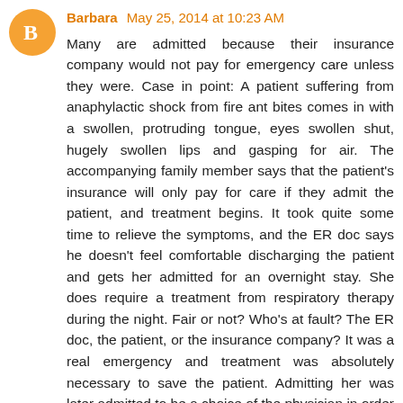Barbara May 25, 2014 at 10:23 AM
Many are admitted because their insurance company would not pay for emergency care unless they were. Case in point: A patient suffering from anaphylactic shock from fire ant bites comes in with a swollen, protruding tongue, eyes swollen shut, hugely swollen lips and gasping for air. The accompanying family member says that the patient's insurance will only pay for care if they admit the patient, and treatment begins. It took quite some time to relieve the symptoms, and the ER doc says he doesn't feel comfortable discharging the patient and gets her admitted for an overnight stay. She does require a treatment from respiratory therapy during the night. Fair or not? Who's at fault? The ER doc, the patient, or the insurance company? It was a real emergency and treatment was absolutely necessary to save the patient. Admitting her was later admitted to be a choice of the physician in order to get the hospital paid and was really unnecessary for the patient's survival. The right answer, of course, is to stop making admission a requirement before the insurance company will pay for the ER visit. Government could do everyone a big favor with proper legislation, but it went to ridiculous, gross